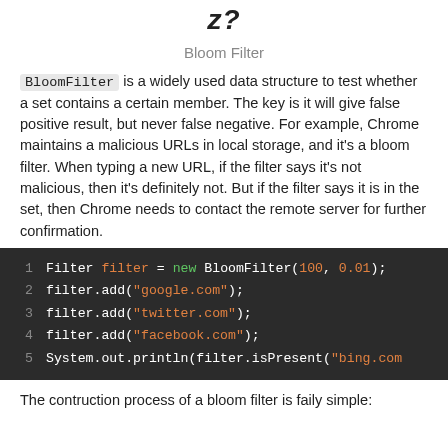z?
Bloom Filter
BloomFilter is a widely used data structure to test whether a set contains a certain member. The key is it will give false positive result, but never false negative. For example, Chrome maintains a malicious URLs in local storage, and it's a bloom filter. When typing a new URL, if the filter says it's not malicious, then it's definitely not. But if the filter says it is in the set, then Chrome needs to contact the remote server for further confirmation.
[Figure (screenshot): Code block on dark background showing Java BloomFilter usage: 5 lines of code including creating a filter, adding google.com, twitter.com, facebook.com, and calling System.out.println(filter.isPresent("bing.com..."]
The contruction process of a bloom filter is faily simple: